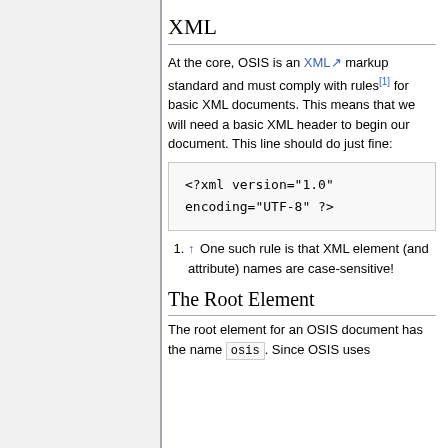XML
At the core, OSIS is an XML markup standard and must comply with rules[1] for basic XML documents. This means that we will need a basic XML header to begin our document. This line should do just fine:
<?xml version="1.0" encoding="UTF-8" ?>
1. ↑ One such rule is that XML element (and attribute) names are case-sensitive!
The Root Element
The root element for an OSIS document has the name osis. Since OSIS uses